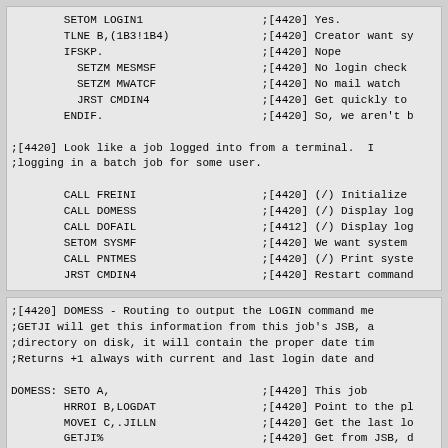SETOM LOGIN1 ;[4420] Yes.
 TLNE B,(1B3!1B4) ;[4420] Creator want sy
 IFSKP. ;[4420] Nope
  SETZM MESMSF ;[4420] No login check
  SETZM MWATCF ;[4420] No mail watch
  JRST CMDIN4 ;[4420] Get quickly to
 ENDIF. ;[4420] So, we aren't b

;[4420] Look like a job logged into from a terminal. I
;logging in a batch job for some user.

 CALL FREINI ;[4420] (/) Initialize
 CALL DOMESS ;[4420] (/) Display log
 CALL DOFAIL ;[4412] (/) Display log
 SETOM SYSMF ;[4420] We want system
 CALL PNTMES ;[4420] (/) Print syste
 JRST CMDIN4 ;[4420] Restart command
;[4420] DOMESS - Routing to output the LOGIN command me
;GETJI will get this information from this job's JSB, a
;directory on disk, it will contain the proper date tim
;Returns +1 always with current and last login date and

DOMESS: SETO A, ;[4420] This job
 HRROI B,LOGDAT ;[4420] Point to the pl
 MOVEI C,.JILLN ;[4420] Get the last lo
 GETJI% ;[4420] Get from JSB, d
  ERJMP .+1 ;[4420] No error
  MOVEI A,LOGDAT ;[4420] A not what int